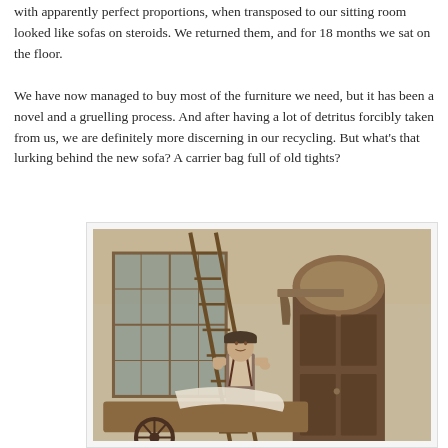with apparently perfect proportions, when transposed to our sitting room looked like sofas on steroids. We returned them, and for 18 months we sat on the floor.

We have now managed to buy most of the furniture we need, but it has been a novel and a gruelling process. And after having a lot of detritus forcibly taken from us, we are definitely more discerning in our recycling. But what's that lurking behind the new sofa? A carrier bag full of old tights?
[Figure (photo): Vintage sepia photograph of a young man in a flat cap and work clothes standing next to a ladder leaning against a building facade. The building has an arched doorway with decorative woodwork. In the foreground is a wooden cart with a wheel, with a white cloth draped over it.]